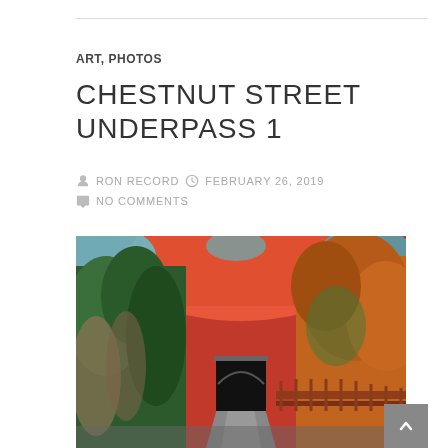ART, PHOTOS
CHESTNUT STREET UNDERPASS 1
RON RECORD   FEBRUARY 26, 2019
NO COMMENTS
[Figure (photo): Artistic photo of Chestnut Street underpass tunnel entrance, with colorful sky rendered in orange/red tones, lush green vegetation on both sides, and a dark tunnel entrance in the center. A red/brown railing bridge is visible on the right side.]